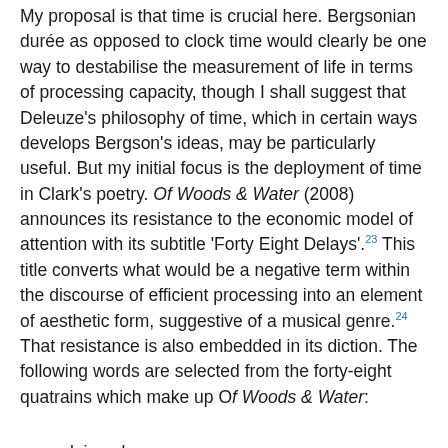My proposal is that time is crucial here. Bergsonian durée as opposed to clock time would clearly be one way to destabilise the measurement of life in terms of processing capacity, though I shall suggest that Deleuze's philosophy of time, which in certain ways develops Bergson's ideas, may be particularly useful. But my initial focus is the deployment of time in Clark's poetry. Of Woods & Water (2008) announces its resistance to the economic model of attention with its subtitle 'Forty Eight Delays'.²³ This title converts what would be a negative term within the discourse of efficient processing into an element of aesthetic form, suggestive of a musical genre.²⁴ That resistance is also embedded in its diction. The following words are selected from the forty-eight quatrains which make up Of Woods & Water:
leisurely
relax
slow
hesitation
detains